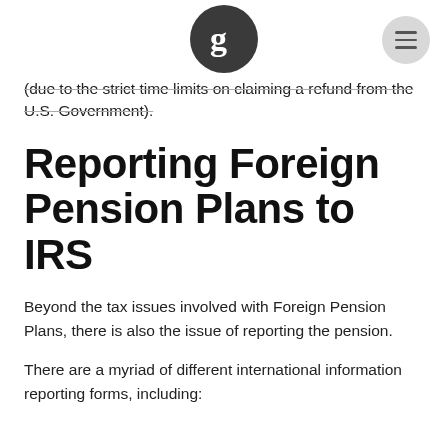Golding & Golding
(due to the strict time limits on claiming a refund from the U.S. Government).
Reporting Foreign Pension Plans to IRS
Beyond the tax issues involved with Foreign Pension Plans, there is also the issue of reporting the pension.
There are a myriad of different international information reporting forms, including: